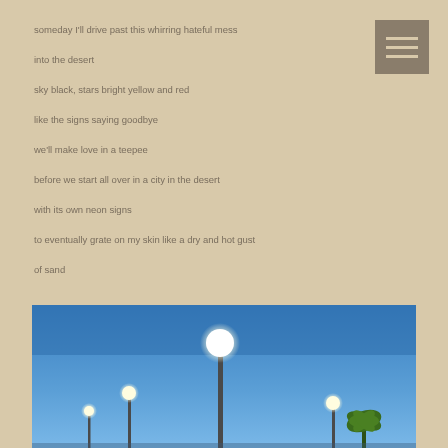someday I'll drive past this whirring hateful mess
into the desert
sky black, stars bright yellow and red
like the signs saying goodbye
we'll make love in a teepee
before we start all over in a city in the desert
with its own neon signs
to eventually grate on my skin like a dry and hot gust
of sand
[Figure (photo): Street lamps against a blue sky at dusk, with palm trees visible in the lower right corner]